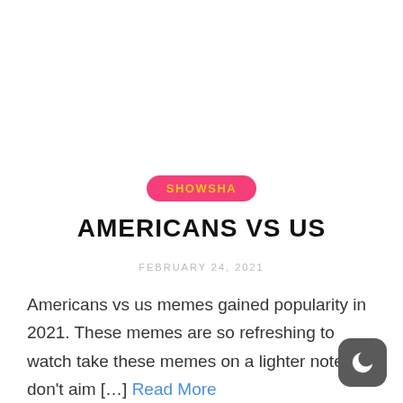SHOWSHA
AMERICANS VS US
FEBRUARY 24, 2021
Americans vs us memes gained popularity in 2021. These memes are so refreshing to watch take these memes on a lighter note we don't aim […] Read More
[Figure (illustration): Dark mode toggle button icon — a crescent moon symbol on a dark rounded square background, positioned at bottom right corner]